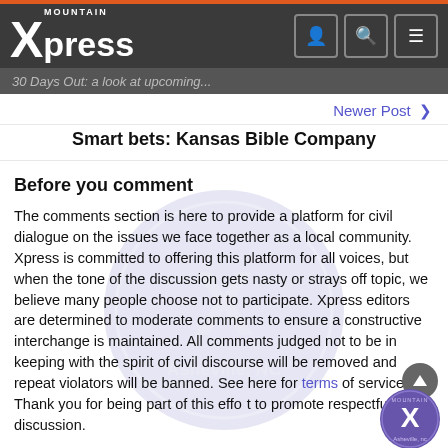Mountain Xpress
30 Days Out: a look at upcoming...
Newer Post >
Smart bets: Kansas Bible Company
Before you comment
The comments section is here to provide a platform for civil dialogue on the issues we face together as a local community. Xpress is committed to offering this platform for all voices, but when the tone of the discussion gets nasty or strays off topic, we believe many people choose not to participate. Xpress editors are determined to moderate comments to ensure a constructive interchange is maintained. All comments judged not to be in keeping with the spirit of civil discourse will be removed and repeat violators will be banned. See here for terms of service. Thank you for being part of this effort to promote respectful discussion.